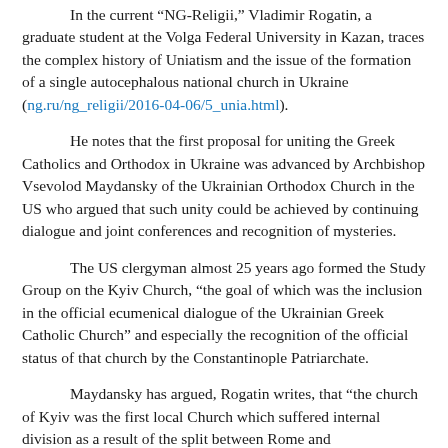In the current "NG-Religii," Vladimir Rogatin, a graduate student at the Volga Federal University in Kazan, traces the complex history of Uniatism and the issue of the formation of a single autocephalous national church in Ukraine (ng.ru/ng_religii/2016-04-06/5_unia.html).
He notes that the first proposal for uniting the Greek Catholics and Orthodox in Ukraine was advanced by Archbishop Vsevolod Maydansky of the Ukrainian Orthodox Church in the US who argued that such unity could be achieved by continuing dialogue and joint conferences and recognition of mysteries.
The US clergyman almost 25 years ago formed the Study Group on the Kyiv Church, “the goal of which was the inclusion in the official ecumenical dialogue of the Ukrainian Greek Catholic Church” and especially the recognition of the official status of that church by the Constantinople Patriarchate.
Maydansky has argued, Rogatin writes, that “the church of Kyiv was the first local Church which suffered internal division as a result of the split between Rome and Constantinople. The cure of this wound of the Kyiv church” is thus a requirement for “real